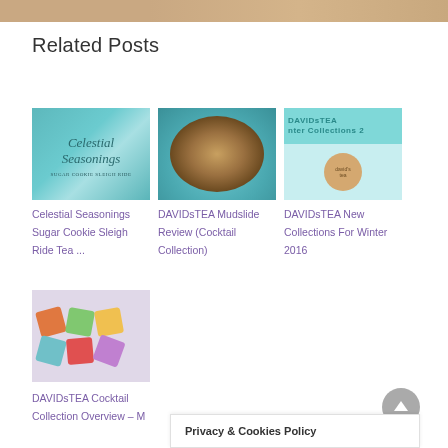[Figure (photo): Top banner image of a textured beige/tan surface]
Related Posts
[Figure (photo): Celestial Seasonings tea box with teal/turquoise background and cursive text]
Celestial Seasonings Sugar Cookie Sleigh Ride Tea ...
[Figure (photo): DAVIDsTEA Mudslide tea leaves in a teal bowl]
DAVIDsTEA Mudslide Review (Cocktail Collection)
[Figure (photo): DAVIDsTEA Winter Collections 2016 promotional image]
DAVIDsTEA New Collections For Winter 2016
[Figure (photo): DAVIDsTEA cocktail collection colorful small tea tins]
DAVIDsTEA Cocktail Collection Overview – M
Privacy & Cookies Policy